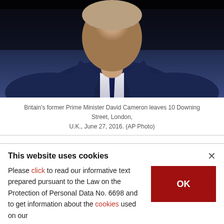[Figure (photo): Britain's former Prime Minister David Cameron in a dark navy suit and tie, photographed from the chest up, leaving 10 Downing Street.]
Britain's former Prime Minister David Cameron leaves 10 Downing Street, London, U.K., June 27, 2016. (AP Photo)
BY ASSOCIATED PRESS
APR 12, 2021 2:31 PM
Former British Prime Minister David Cameron has broken his silence over the
This website uses cookies
×
Please click to read our informative text prepared pursuant to the Law on the Protection of Personal Data No. 6698 and to get information about the cookies used on our
OK